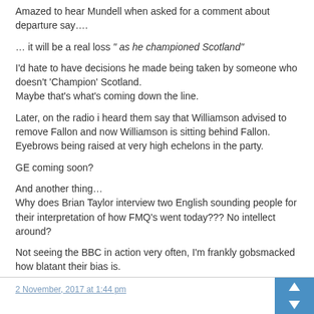Amazed to hear Mundell when asked for a comment about departure say….
… it will be a real loss " as he championed Scotland"
I'd hate to have decisions he made being taken by someone who doesn't 'Champion' Scotland.
Maybe that's what's coming down the line.
Later, on the radio i heard them say that Williamson advised to remove Fallon and now Williamson is sitting behind Fallon. Eyebrows being raised at very high echelons in the party.
GE coming soon?
And another thing…
Why does Brian Taylor interview two English sounding people for their interpretation of how FMQ's went today??? No intellect around?
Not seeing the BBC in action very often, I'm frankly gobsmacked how blatant their bias is.
2 November, 2017 at 1:44 pm